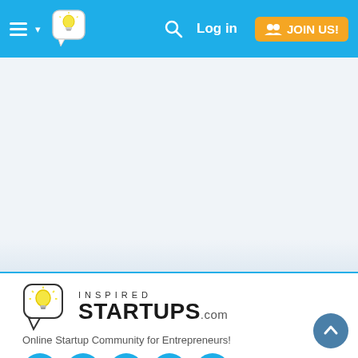Navigation bar with hamburger menu, logo icon, search, Log in, JOIN US!
[Figure (screenshot): Gray/white banner area placeholder]
[Figure (logo): Inspired Startups .com logo with speech bubble lightbulb icon]
Online Startup Community for Entrepreneurs!
[Figure (infographic): Social media icons: Facebook, Twitter, LinkedIn, Google+, YouTube — all in teal/blue circles]
Categories
TIPS
STORIES
HOME
ABOUT
BLOGGERS